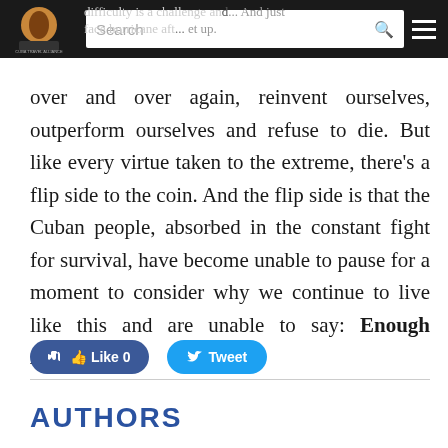difficulty is a challenge and... And just face hurricane aft... et up.
over and over again, reinvent ourselves, outperform ourselves and refuse to die. But like every virtue taken to the extreme, there’s a flip side to the coin. And the flip side is that the Cuban people, absorbed in the constant fight for survival, have become unable to pause for a moment to consider why we continue to live like this and are unable to say: Enough Already.
[Figure (other): Facebook Like button showing Like 0 and Twitter Tweet button]
AUTHORS